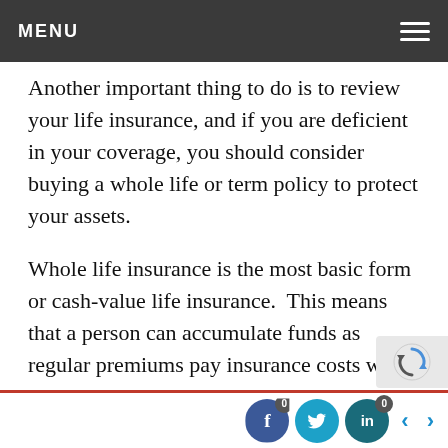MENU
Another important thing to do is to review your life insurance, and if you are deficient in your coverage, you should consider buying a whole life or term policy to protect your assets.
Whole life insurance is the most basic form or cash-value life insurance.  This means that a person can accumulate funds as regular premiums pay insurance costs while also contributing to a person's